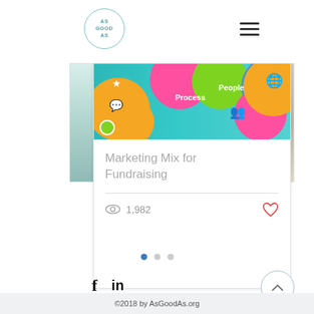[Figure (logo): AsGoodAs logo — circular border with text AS / GOOD / AS inside in teal]
[Figure (screenshot): Hamburger menu icon (three horizontal lines)]
[Figure (screenshot): Article card with colorful marketing mix bubbles image at top showing Process, People labels and icons, title 'Marketing Mix for Fundraising', view count 1,982 and heart icon]
[Figure (infographic): Three carousel pagination dots — first filled blue, two light grey]
[Figure (infographic): Social media icons: f (Facebook) and in (LinkedIn)]
[Figure (infographic): Back to top chevron button in circle]
©2018 by AsGoodAs.org